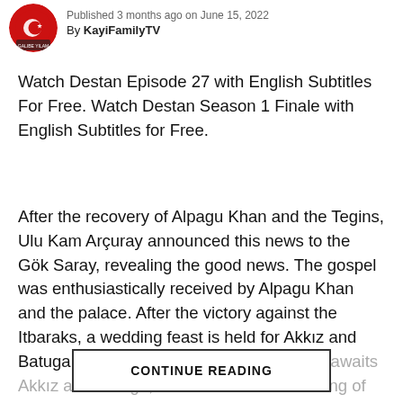Published 3 months ago on June 15, 2022
By KayiFamilyTV
Watch Destan Episode 27 with English Subtitles For Free. Watch Destan Season 1 Finale with English Subtitles for Free.
After the recovery of Alpagu Khan and the Tegins, Ulu Kam Arçuray announced this news to the Gök Saray, revealing the good news. The gospel was enthusiastically received by Alpagu Khan and the palace. After the victory against the Itbaraks, a wedding feast is held for Akkız and Batuga, the two heroes of epic love. What awaits Akkız and Batuga, who are in love in the ring of fire, after the
CONTINUE READING